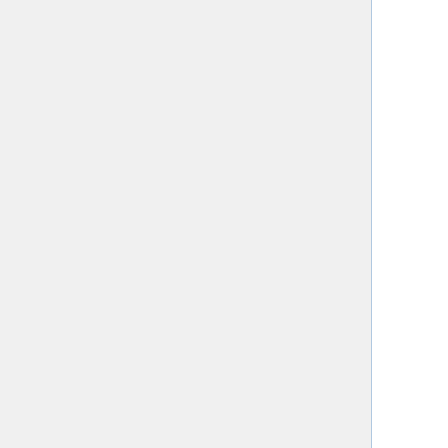| Institution | Area | Date | Note |
| --- | --- | --- | --- |
| U Munich | applied (W2/tt) | Jan 31 |  |
| U Munich | applied/stoch (W3) | Oct 31 |  |
| U Munich | applied/stoch (W2/tt) | Apr 22 |  |
| U Munich | stat (W2) | Apr 14 |  |
| U Oldenburg | comp, discrete (W3) | Mar 13 |  |
| U Osnabrück | applied, numer anal (W2) | Dec 31 |  |
| U Paderborn | analysis (W2) | Jan 28 |  |
| U Paderborn | num thy (W2) | Dec 5 |  |
| U Regensburg | geom/topol (W3) | Apr 6 |  |
| U Rostock | alg/geom (W2) | Nov 21 |  |
| U Stuttgart | math sys thy (W3) | expired | offer |
| U Stuttgart | geom (W3) | July 4, 2008 |  |
| U Stuttgart | algebra/num thy (W3) | July 4, 2008 |  |